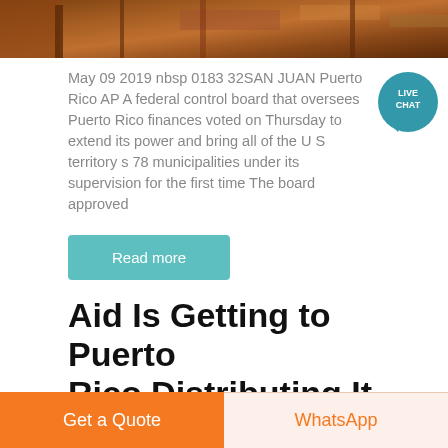[Figure (photo): Top partial image of a warehouse or industrial facility with wooden crates and equipment, cropped showing only top portion]
May 09 2019 nbsp 0183 32SAN JUAN Puerto Rico AP A federal control board that oversees Puerto Rico finances voted on Thursday to extend its power and bring all of the U S territory s 78 municipalities under its supervision for the first time The board approved...
Read more
Aid Is Getting to Puerto Rico Distributing It
[Figure (photo): Partial image of a large warehouse interior with metal shelving/racking structure, green and red elements visible]
Get a Quote
WhatsApp